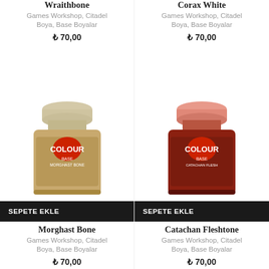Wraithbone
Games Workshop, Citadel Boya, Base Boyalar
₺ 70,00
[Figure (photo): Citadel Colour Base Wraithbone paint bottle - cream/bone coloured paint]
SEPETE EKLE
Morghast Bone
Games Workshop, Citadel Boya, Base Boyalar
₺ 70,00
Corax White
Games Workshop, Citadel Boya, Base Boyalar
₺ 70,00
[Figure (photo): Citadel Colour Base Corax White paint bottle - white paint]
SEPETE EKLE
Catachan Fleshtone
Games Workshop, Citadel Boya, Base Boyalar
₺ 70,00